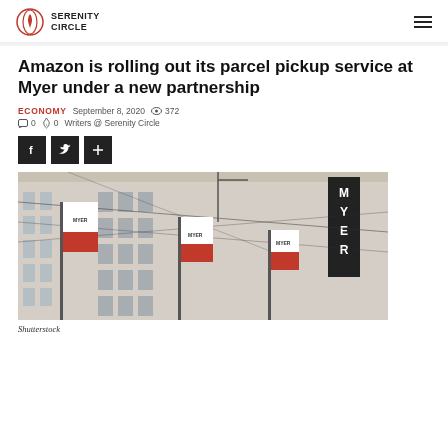SERENITY CIRCLE
Amazon is rolling out its parcel pickup service at Myer under a new partnership
ECONOMY  September 8, 2020  372  0  0  Writers @ Serenity Circle
[Figure (photo): Myer department store exterior with red and white Myer branded flags hanging from the building facade, with the vertical MYER sign visible on the right side of the building.]
Shutterstock